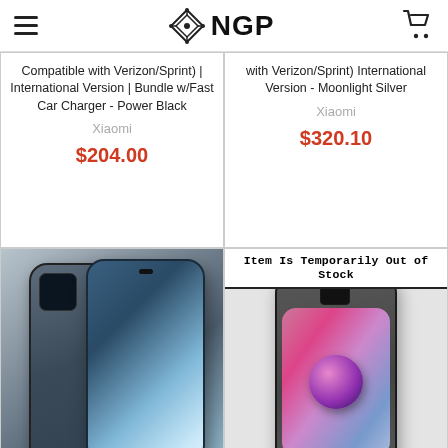NGP store header with navigation
Compatible with Verizon/Sprint) | International Version | Bundle w/Fast Car Charger - Power Black
Xiaomi
$204.00
with Verizon/Sprint) International Version - Moonlight Silver
Xiaomi
$320.10
[Figure (photo): Xiaomi Redmi smartphone (dark blue/gray) shown from the back and front angle, with gradient blue screen]
[Figure (photo): Xiaomi smartphone shown from the front, screen showing a pink/purple sphere on gradient background. Banner: Item Is Temporarily Out of Stock]